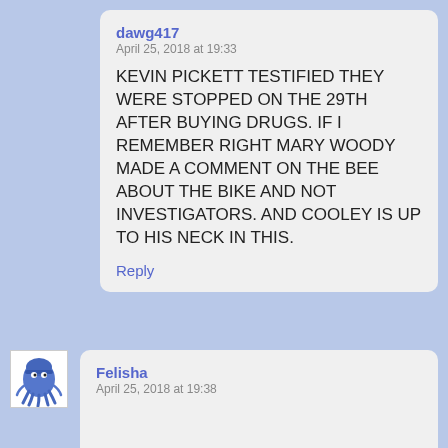dawg417
April 25, 2018 at 19:33

KEVIN PICKETT TESTIFIED THEY WERE STOPPED ON THE 29TH AFTER BUYING DRUGS. IF I REMEMBER RIGHT MARY WOODY MADE A COMMENT ON THE BEE ABOUT THE BIKE AND NOT INVESTIGATORS. AND COOLEY IS UP TO HIS NECK IN THIS.

Reply
[Figure (illustration): Small cartoon avatar of a blue alien/squid-like creature]
Felisha
April 25, 2018 at 19:38